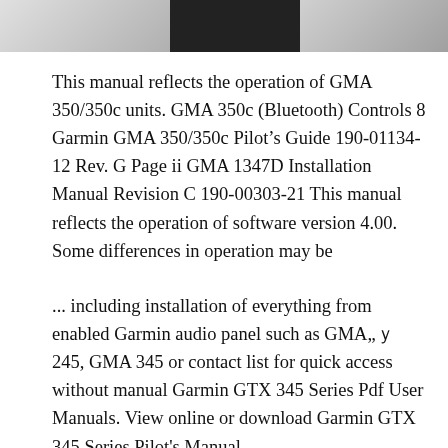[Figure (photo): Partial view of a Garmin avionics device panel image, cropped at the top of the page, showing portions of equipment with gray and black sections.]
This manual reflects the operation of GMA 350/350c units. GMA 350c (Bluetooth) Controls 8 Garmin GMA 350/350c Pilot’s Guide 190-01134-12 Rev. G Page ii GMA 1347D Installation Manual Revision C 190-00303-21 This manual reflects the operation of software version 4.00. Some differences in operation may be
... including installation of everything from enabled Garmin audio panel such as GMA„ÿ 245, GMA 345 or contact list for quick access without manual Garmin GTX 345 Series Pdf User Manuals. View online or download Garmin GTX 345 Series Pilot's Manual